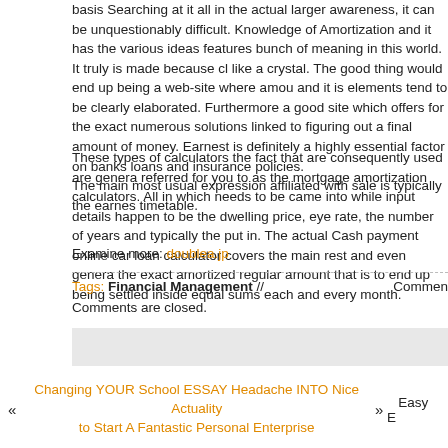basis Searching at it all in the actual larger awareness, it can be unquestionably difficult. Knowledge of Amortization and it has the various ideas features bunch of meaning in this world. It truly is made because clear like a crystal. The good thing would end up being a web-site where amortization and it is elements tend to be clearly elaborated. Furthermore a good site which offers for the exact numerous solutions linked to figuring out a final amount of money. Earnest is definitely a highly essential factor on banks loans and insurance policies. The main most usual expression affiliated with sale is typically the earnest timetable.
These types of calculators the fact that are consequently used are generally referred for you to as the mortgage amortization calculators. All in which needs to be came into while input details happen to be the dwelling price, eye rate, the number of years and typically the put in. The actual Cash payment online car loan calculator covers the main rest and even generates the exact amortized regular amount that is to end up being settled inside equal sums each and every month.
Examine more: doublea.jp
Tags: Financial Management //  Comments are closed.
« Changing YOUR School ESSAY Headache INTO Nice Actuality to Start A Fantastic Personal Enterprise »  Easy ...